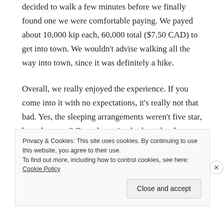decided to walk a few minutes before we finally found one we were comfortable paying. We payed about 10,000 kip each, 60,000 total ($7.50 CAD) to get into town. We wouldn't advise walking all the way into town, since it was definitely a hike.
Overall, we really enjoyed the experience. If you come into it with no expectations, it's really not that bad. Yes, the sleeping arrangements weren't five star, but who cares? On a shoestring budget, the slow boat provided the best views, time to relax, and opportunity to meet
Privacy & Cookies: This site uses cookies. By continuing to use this website, you agree to their use.
To find out more, including how to control cookies, see here: Cookie Policy
Close and accept